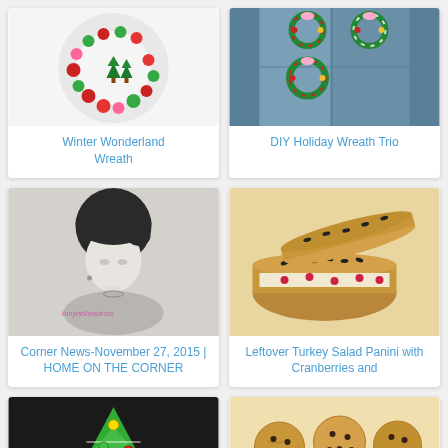[Figure (photo): White yarn wreath with colorful pom-poms and small Christmas trees, red and green decorations]
Winter Wonderland Wreath
[Figure (photo): Three holiday wreaths hanging on a blue/grey door with ribbons]
DIY Holiday Wreath Trio
[Figure (photo): Black and white photo of a young woman looking down]
Corner News-November 27, 2015 | HOME ON THE CORNER
[Figure (photo): Leftover turkey salad panini sandwich with cranberries, sesame seeds on top]
Leftover Turkey Salad Panini with Cranberries and
[Figure (photo): Green felt Christmas tree craft with colorful buttons on dark background]
[Figure (photo): Caramel Chocolate Chip cookies on a white surface with a label reading Caramel Chocolate Chip]